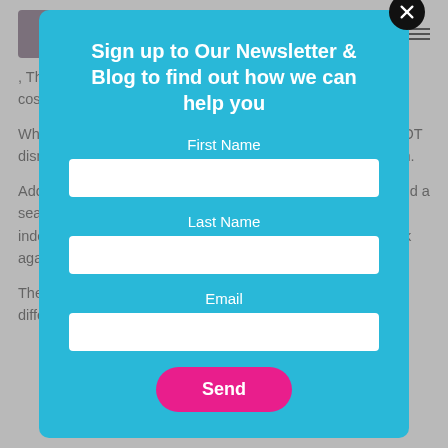Therapist, the look and feel of the chair was sort of dismissed as a cosmetic issue... they are as vital as seat and wh...
When I explained about life changing because of a ch... the OT dismissed that as leisure. Now I like my job but not that much.
Additional and changing needs is about more than wheels and a seat. If we are serious about supporting people to be more independent, then when it comes to chairs – we need to think again.
The NHS needs to begin to think about needs change at different stages of life. 2 or 3 years down
Sign up to Our Newsletter & Blog to find out how we can help you
First Name
Last Name
Email
Send